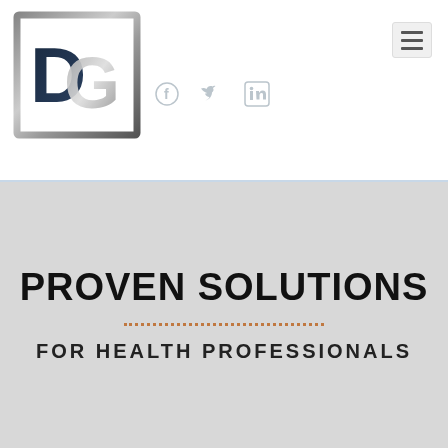[Figure (logo): DG logo — bold dark navy letters D and G inside a square border with metallic silver effect]
[Figure (infographic): Social media icons: Facebook, Twitter, LinkedIn in light grey]
[Figure (other): Hamburger menu icon (three horizontal lines) in a light grey rounded rectangle]
PROVEN SOLUTIONS
FOR HEALTH PROFESSIONALS